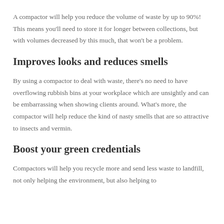A compactor will help you reduce the volume of waste by up to 90%! This means you'll need to store it for longer between collections, but with volumes decreased by this much, that won't be a problem.
Improves looks and reduces smells
By using a compactor to deal with waste, there's no need to have overflowing rubbish bins at your workplace which are unsightly and can be embarrassing when showing clients around. What's more, the compactor will help reduce the kind of nasty smells that are so attractive to insects and vermin.
Boost your green credentials
Compactors will help you recycle more and send less waste to landfill, not only helping the environment, but also helping to